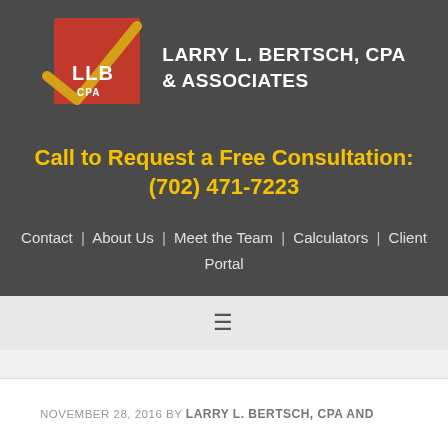[Figure (logo): LLB CPA logo with red square background, gold checkmark, and white LLB text]
LARRY L. BERTSCH, CPA & ASSOCIATES
Call to Request a Free Consultation: (702) 471-7223
Contact | About Us | Meet the Team | Calculators | Client Portal
≡
NOVEMBER 28, 2016 BY LARRY L. BERTSCH, CPA AND
ASSOCIATES